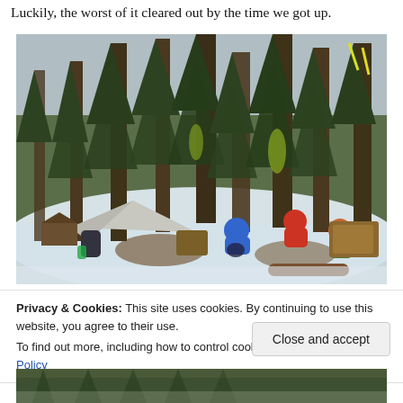Luckily, the worst of it cleared out by the time we got up.
[Figure (photo): Winter camping scene in a snowy forest with tall conifers. A small tarp tent is pitched on the left, two people are crouching and working near the trees, snow covers the ground, and wooden bear boxes are visible on the right.]
Privacy & Cookies: This site uses cookies. By continuing to use this website, you agree to their use.
To find out more, including how to control cookies, see here: Cookie Policy
Close and accept
[Figure (photo): Bottom strip of another outdoor forest/camping photo, partially visible.]